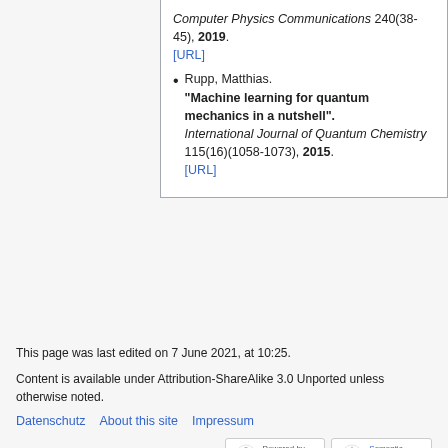Computer Physics Communications 240(38-45), 2019. [URL]
Rupp, Matthias. "Machine learning for quantum mechanics in a nutshell". International Journal of Quantum Chemistry 115(16)(1058-1073), 2015. [URL]
This page was last edited on 7 June 2021, at 10:25.
Content is available under Attribution-ShareAlike 3.0 Unported unless otherwise noted.
Datenschutz   About this site   Impressum